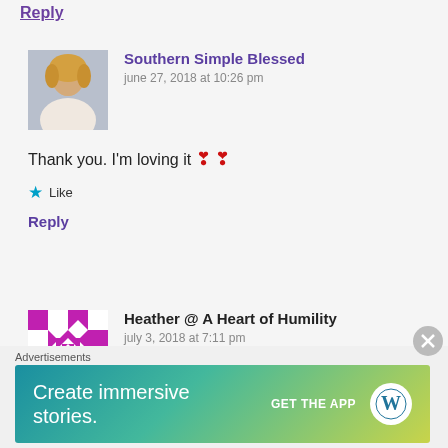Reply
Southern Simple Blessed
june 27, 2018 at 10:26 pm
Thank you. I'm loving it ❣ ❣
Like
Reply
Heather @ A Heart of Humility
july 3, 2018 at 7:11 pm
Advertisements
Create immersive stories.
GET THE APP